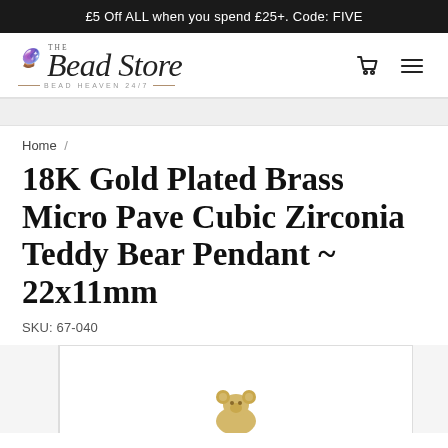£5 Off ALL when you spend £25+. Code: FIVE
[Figure (logo): The Bead Store logo — cursive script with tagline Bead Heaven 24/7]
Home /
18K Gold Plated Brass Micro Pave Cubic Zirconia Teddy Bear Pendant ~ 22x11mm
SKU: 67-040
[Figure (photo): Product photo of 18K gold plated brass micro pave cubic zirconia teddy bear pendant, partially visible at bottom of page]